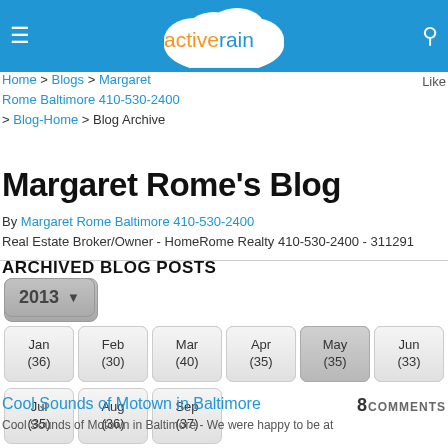[Figure (screenshot): ActiveRain website header bar with hamburger menu, cloud logo, and search icon]
Home > Blogs > Margaret Rome Baltimore 410-530-2400 > Blog-Home > Blog Archive
Margaret Rome's Blog
By Margaret Rome Baltimore 410-530-2400
Real Estate Broker/Owner - HomeRome Realty 410-530-2400 - 311291
ARCHIVED BLOG POSTS
[Figure (screenshot): Year selector showing 2013 with dropdown arrow, and month archive buttons: Jan(36) Feb(30) Mar(40) Apr(35) May(35) Jun(33) Jul(35) Aug(36) Sep(37) Oct(32) Nov(30) Dec(35)]
Cool Sounds of Motown in Baltimore
8 COMMENTS
Cool Sounds of Motown in Baltimore - We were happy to be at